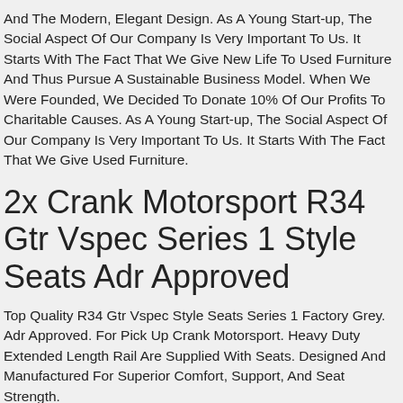And The Modern, Elegant Design. As A Young Start-up, The Social Aspect Of Our Company Is Very Important To Us. It Starts With The Fact That We Give New Life To Used Furniture And Thus Pursue A Sustainable Business Model. When We Were Founded, We Decided To Donate 10% Of Our Profits To Charitable Causes. As A Young Start-up, The Social Aspect Of Our Company Is Very Important To Us. It Starts With The Fact That We Give Used Furniture.
2x Crank Motorsport R34 Gtr Vspec Series 1 Style Seats Adr Approved
Top Quality R34 Gtr Vspec Style Seats Series 1 Factory Grey. Adr Approved. For Pick Up Crank Motorsport. Heavy Duty Extended Length Rail Are Supplied With Seats. Designed And Manufactured For Superior Comfort, Support, And Seat Strength.